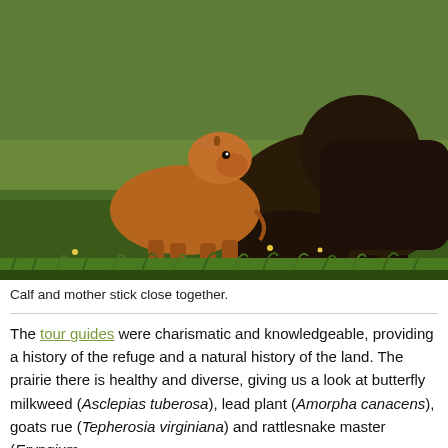[Figure (photo): A young reddish-brown bison calf and a large dark-brown adult bison standing close together in a green grassy field. The adult bison's head is lowered toward the grass.]
Calf and mother stick close together.
The tour guides were charismatic and knowledgeable, providing a history of the refuge and a natural history of the land. The prairie there is healthy and diverse, giving us a look at butterfly milkweed (Asclepias tuberosa), lead plant (Amorpha canacens), goats rue (Tepherosia virginiana) and rattlesnake master (Eryngium